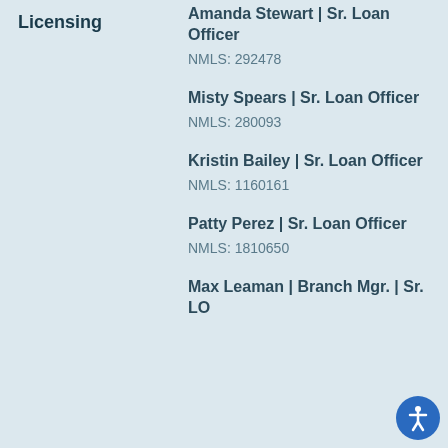Licensing
Amanda Stewart | Sr. Loan Officer
NMLS: 292478
Misty Spears | Sr. Loan Officer
NMLS: 280093
Kristin Bailey | Sr. Loan Officer
NMLS: 1160161
Patty Perez | Sr. Loan Officer
NMLS: 1810650
Max Leaman | Branch Mgr. | Sr. LO